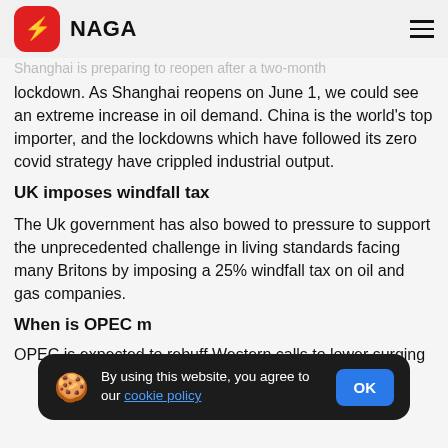NAGA
Shanghai is preparing to reopen after a two-month lockdown. As Shanghai reopens on June 1, we could see an extreme increase in oil demand. China is the world's top importer, and the lockdowns which have followed its zero covid strategy have crippled industrial output.
UK imposes windfall tax
The Uk government has also bowed to pressure to support the unprecedented challenge in living standards facing many Britons by imposing a 25% windfall tax on oil and gas companies.
When is OPEC m
By using this website, you agree to our cookie policy
OPEC is expected to rebuff Western calls to lower surging